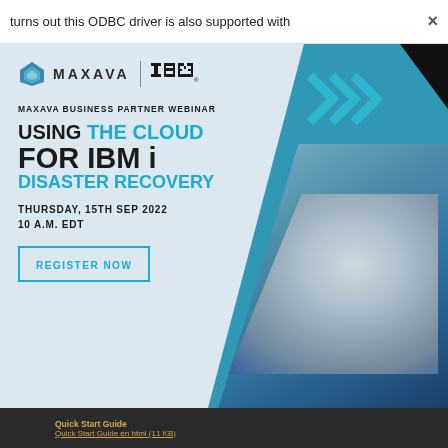turns out this ODBC driver is also supported with
[Figure (infographic): Maxava and IBM business partner webinar advertisement. Light blue background with teal diagonal shapes and handshake photo on right side. Contains logos, title text, date, and register button.]
MAXAVA BUSINESS PARTNER WEBINAR
USING THE CLOUD FOR IBM i DISASTER RECOVERY
THURSDAY, 15TH SEP 2022
10 A.M. EDT
REGISTER NOW
Quick Start Guide
Quick Start Guide en html (11 KB)